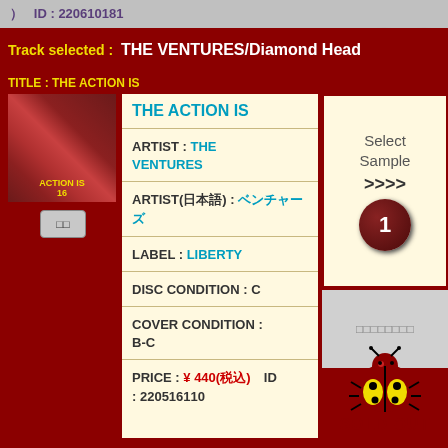ID : 220610181
Track selected : THE VENTURES/Diamond Head
TITLE : THE ACTION IS
[Figure (photo): Album cover for The Ventures - Action Is]
ARTIST : THE VENTURES
ARTIST(日本語) : ベンチャーズ
LABEL : LIBERTY
DISC CONDITION : C
COVER CONDITION : B-C
PRICE : ¥ 440(税込)   ID : 220516110
Select Sample >>>>
[Figure (illustration): Ladybug mascot illustration with SOLD OUT text]